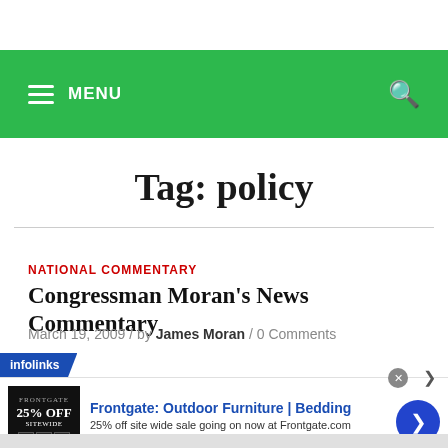MENU (navigation bar with search icon)
Tag: policy
NATIONAL COMMENTARY
Congressman Moran's News Commentary
March 19, 2009 / by James Moran / 0 Comments
[Figure (screenshot): Infolinks advertisement overlay showing Frontgate: Outdoor Furniture | Bedding ad with 25% off sitewide sale, frontgate.com URL, dark product image, and blue arrow button]